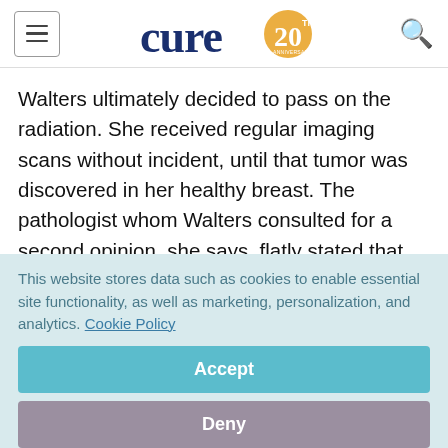cure 20th anniversary
Walters ultimately decided to pass on the radiation. She received regular imaging scans without incident, until that tumor was discovered in her healthy breast. The pathologist whom Walters consulted for a second opinion, she says, flatly stated that the cancer was not related to her prior DCIS. “The only
This website stores data such as cookies to enable essential site functionality, as well as marketing, personalization, and analytics. Cookie Policy
Accept
Deny